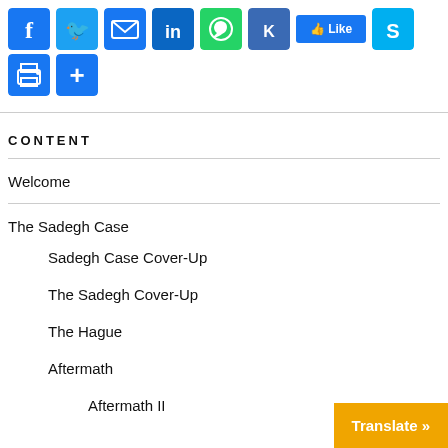[Figure (other): Social media sharing icons row 1: Facebook, Twitter, Email, LinkedIn, WhatsApp, Kred, Like button, Skype]
[Figure (other): Social media sharing icons row 2: Print, Share/Add]
CONTENT
Welcome
The Sadegh Case
Sadegh Case Cover-Up
The Sadegh Cover-Up
The Hague
Aftermath
Aftermath II
Translate »